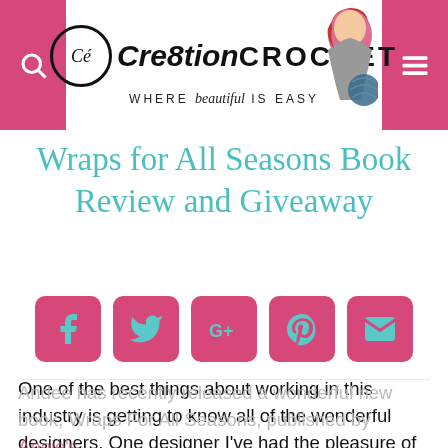Crebtion CROCHET – WHERE beautiful IS EASY
Wraps for All Seasons Book Review and Giveaway
[Figure (infographic): Row of 5 pink rounded-square social share buttons: Facebook, Twitter, Google+, Pinterest, Email (envelope icon). Icons are teal colored on pink background.]
One of the best things about working in this industry is getting to know all of the wonderful designers.  One designer I've had the pleasure of spending time with is my dear friend, Andee Graves of Mamas2Hands.
Andee has recently released a wonderful new book, Wraps For All Seasons, published by Annie's